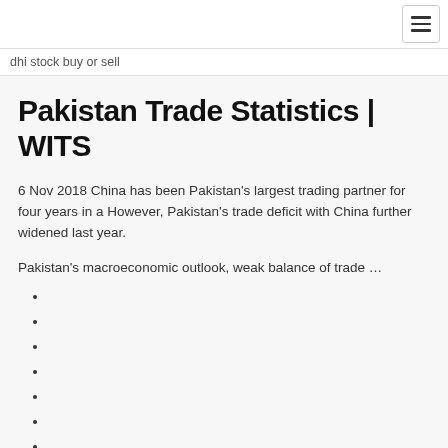dhi stock buy or sell
Pakistan Trade Statistics | WITS
6 Nov 2018 China has been Pakistan's largest trading partner for four years in a However, Pakistan's trade deficit with China further widened last year.
Pakistan's macroeconomic outlook, weak balance of trade …